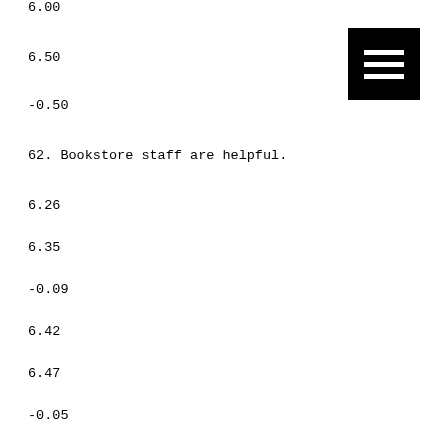6.00
6.50
-0.50
62. Bookstore staff are helpful.
6.26
6.35
-0.09
6.42
6.47
-0.05
7.00
7.00
0.00
5.67
6.33
-0.66